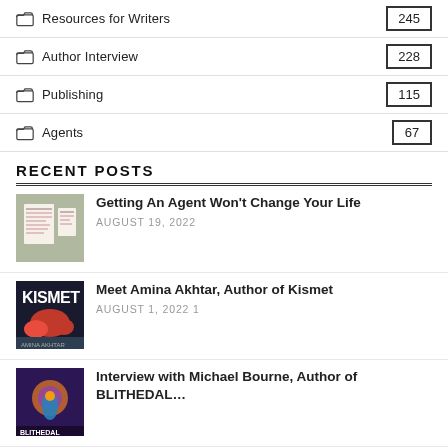Resources for Writers 245
Author Interview 228
Publishing 115
Agents 67
RECENT POSTS
Getting An Agent Won't Change Your Life
AUGUST 19, 2022
Meet Amina Akhtar, Author of Kismet
AUGUST 1, 2022 1
Interview with Michael Bourne, Author of BLITHEDAL…